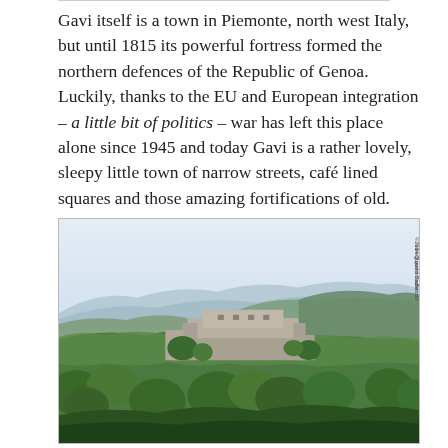Gavi itself is a town in Piemonte, north west Italy, but until 1815 its powerful fortress formed the northern defences of the Republic of Genoa. Luckily, thanks to the EU and European integration – a little bit of politics – war has left this place alone since 1945 and today Gavi is a rather lovely, sleepy little town of narrow streets, café lined squares and those amazing fortifications of old.
[Figure (photo): Aerial/distant view of the Gavi fortress (Forte di Gavi) situated on a wooded hill, with stone walls and bastions visible, surrounded by green trees, with distant mountains and hazy sky in the background. Watermark reads '©2014 Quentin Sadler wine@quentinsadler.com'.]